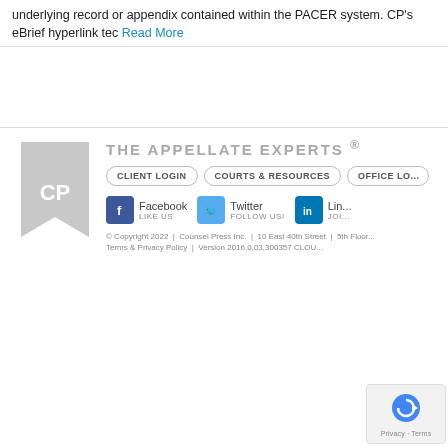underlying record or appendix contained within the PACER system. CP's eBrief hyperlink tec Read More
[Figure (logo): Counsel Press CP logo - grey angular bookmark shape with CP letters]
THE APPELLATE EXPERTS ®
CLIENT LOGIN | COURTS & RESOURCES | OFFICE LO...
Facebook LIKE US | Twitter FOLLOW US! | Lin... JOI...
© Copyright 2022 | Counsel Press Inc. | 10 East 40th Street | 5th Floor ... Terms & Privacy Policy | Version 2016,0,03,300357 CLOU...